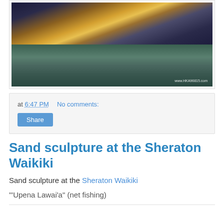[Figure (photo): Beach sunset photo at Waikiki with silhouettes of people on the sand, palm trees, a pier, and dramatic sky with watermark www.HKA96815.com]
at 6:47 PM   No comments:
Share
Sand sculpture at the Sheraton Waikiki
Sand sculpture at the Sheraton Waikiki
'Upena Lawai'a" (net fishing)